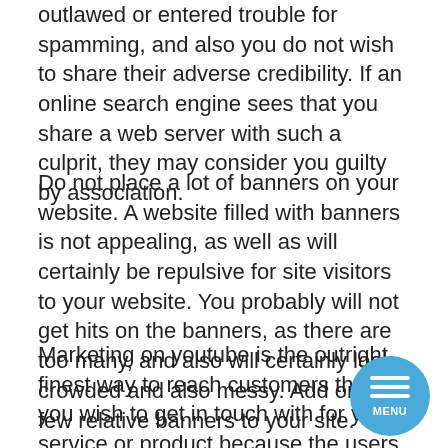outlawed or entered trouble for spamming, and also you do not wish to share their adverse credibility. If an online search engine sees that you share a web server with such a culprit, they may consider you guilty by association.
Do not place a lot of banners on your website. A website filled with banners is not appealing, as well as will certainly be repulsive for site visitors to your website. You probably will not get hits on the banners, as there are too many, and also will certainly look crowded and also messy. Add only a few relative banners to your site.
Marketing on youtube is the outright finest way to reach customers that you wish to get in touch with for your service or product because the users have actually willingly clicked the individual generated material which continuously maintains a sight count